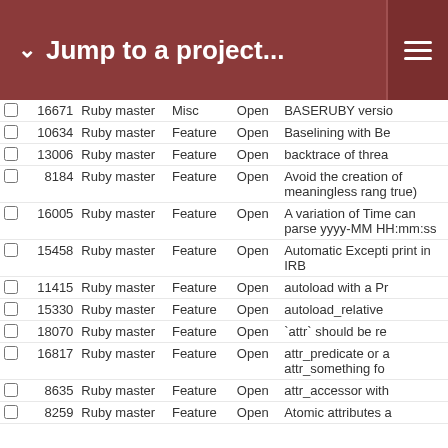Jump to a project...
|  | # | Project | Type | Status | Description |
| --- | --- | --- | --- | --- | --- |
|  | 16671 | Ruby master | Misc | Open | BASERUBY versio... |
|  | 10634 | Ruby master | Feature | Open | Baselining with Be... |
|  | 13006 | Ruby master | Feature | Open | backtrace of threa... |
|  | 8184 | Ruby master | Feature | Open | Avoid the creation of meaningless rang... true) |
|  | 16005 | Ruby master | Feature | Open | A variation of Time can parse yyyy-MM HH:mm:ss |
|  | 15458 | Ruby master | Feature | Open | Automatic Excepti... print in IRB |
|  | 11415 | Ruby master | Feature | Open | autoload with a Pr... |
|  | 15330 | Ruby master | Feature | Open | autoload_relative |
|  | 18070 | Ruby master | Feature | Open | `attr` should be re... |
|  | 16817 | Ruby master | Feature | Open | attr_predicate or a... attr_something fo... |
|  | 8635 | Ruby master | Feature | Open | attr_accessor with... |
|  | 8259 | Ruby master | Feature | Open | Atomic attributes a... |